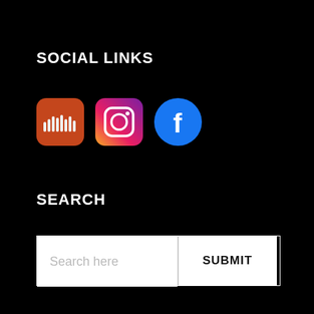SOCIAL LINKS
[Figure (illustration): Three social media icons in a row: SoundCloud (orange rounded square), Instagram (gradient rounded square), Facebook (blue circle)]
SEARCH
[Figure (screenshot): Search bar with placeholder text 'Search here' on the left and a 'SUBMIT' button on the right, both on white background with border]